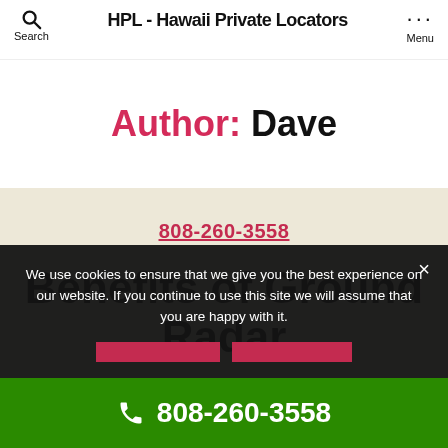HPL - Hawaii Private Locators
Author: Dave
808-260-3558
Benefits of Ground Radar
We use cookies to ensure that we give you the best experience on our website. If you continue to use this site we will assume that you are happy with it.
808-260-3558